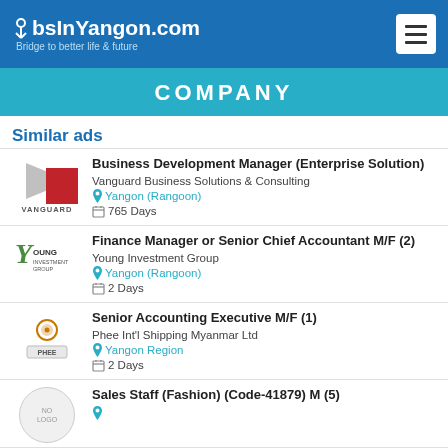JobsInYangon.com – Bridge to better life & future
COMPANY
Similar ads
Business Development Manager (Enterprise Solution) – Vanguard Business Solutions & Consulting – Yangon (Rangoon) – 765 Days
Finance Manager or Senior Chief Accountant M/F (2) – Young Investment Group – Yangon (Rangoon) – 2 Days
Senior Accounting Executive M/F (1) – Phee Int'l Shipping Myanmar Ltd – Yangon Region – 2 Days
Sales Staff (Fashion) (Code-41879) M (5)